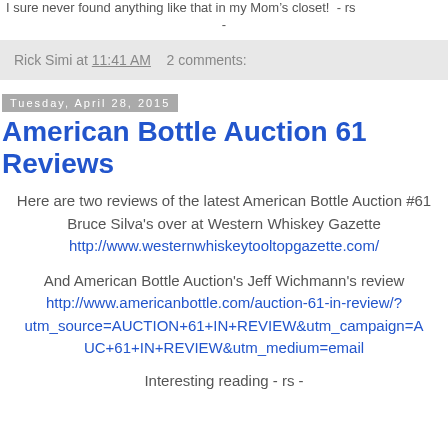I sure never found anything like that in my Mom's closet!  - rs
-
Rick Simi at 11:41 AM    2 comments:
Tuesday, April 28, 2015
American Bottle Auction 61 Reviews
Here are two reviews of the latest American Bottle Auction #61
Bruce Silva's over at Western Whiskey Gazette http://www.westernwhiskeytooltopgazette.com/
And American Bottle Auction's Jeff Wichmann's review http://www.americanbottle.com/auction-61-in-review/?utm_source=AUCTION+61+IN+REVIEW&utm_campaign=AUC+61+IN+REVIEW&utm_medium=email
Interesting reading - rs -